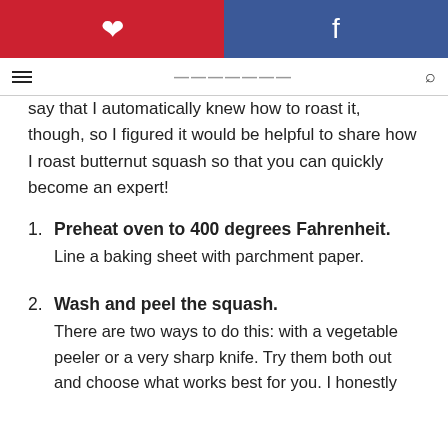Pinterest | Facebook
say that I automatically knew how to roast it, though, so I figured it would be helpful to share how I roast butternut squash so that you can quickly become an expert!
Preheat oven to 400 degrees Fahrenheit. Line a baking sheet with parchment paper.
Wash and peel the squash. There are two ways to do this: with a vegetable peeler or a very sharp knife. Try them both out and choose what works best for you. I honestly